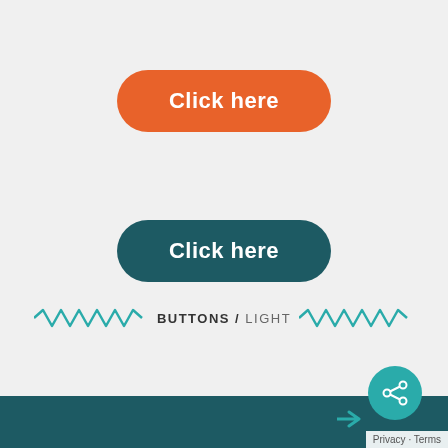[Figure (illustration): Orange rounded button with white text 'Click here']
[Figure (illustration): Dark teal rounded button with white text 'Click here']
BUTTONS / LIGHT
[Figure (illustration): Teal share icon circle button and dark teal footer bar with Privacy - Terms text]